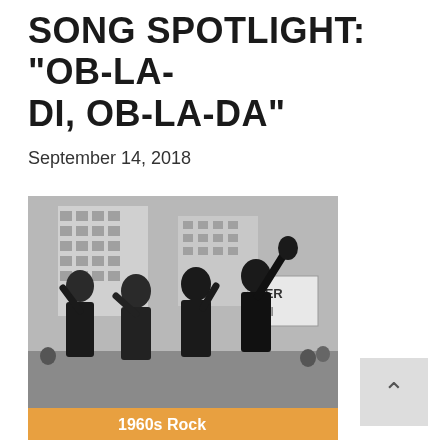SONG SPOTLIGHT: “OB-LA-DI, OB-LA-DA”
September 14, 2018
[Figure (photo): Black and white photograph of four young men (The Beatles) waving and gesturing on a city street, with buildings and a sign visible in the background. An orange banner at the bottom reads '1960s Rock'.]